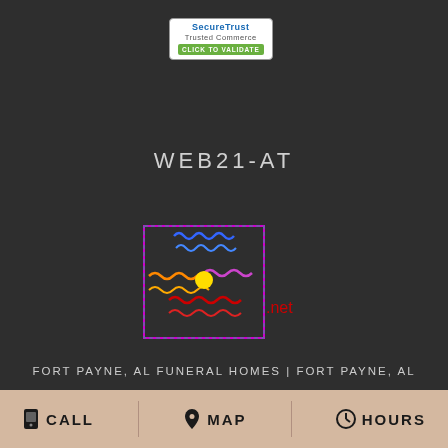[Figure (logo): SecureTrust Trusted Commerce badge with blue text and green CLICK TO VALIDATE button]
WEB21-AT
[Figure (logo): Colorful pinwheel-style logo with multicolored wavy lines and a yellow center dot, with '.net' text in red to the right]
FORT PAYNE, AL FUNERAL HOMES | FORT PAYNE, AL HOSPITALS | FORT PAYNE, AL WEDDING FLOWER VENDORS FORT PAYNE, AL WEATHER | AL STATE GOVERNMENT SITE PRIVACY POLICY | TERMS OF PURCHASE
CALL  MAP  HOURS